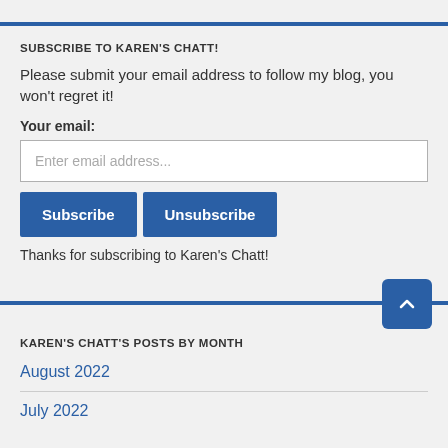SUBSCRIBE TO KAREN'S CHATT!
Please submit your email address to follow my blog, you won't regret it!
Your email:
Enter email address...
Subscribe   Unsubscribe
Thanks for subscribing to Karen's Chatt!
KAREN'S CHATT'S POSTS BY MONTH
August 2022
July 2022